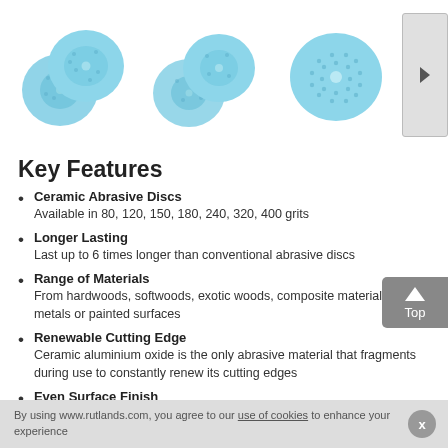[Figure (photo): Three groups of blue ceramic abrasive sanding discs arranged side by side with a right-arrow navigation button on the right]
Key Features
Ceramic Abrasive Discs
Available in 80, 120, 150, 180, 240, 320, 400 grits
Longer Lasting
Last up to 6 times longer than conventional abrasive discs
Range of Materials
From hardwoods, softwoods, exotic woods, composite materials to metals or painted surfaces
Renewable Cutting Edge
Ceramic aluminium oxide is the only abrasive material that fragments during use to constantly renew its cutting edges
Even Surface Finish
By using www.rutlands.com, you agree to our use of cookies to enhance your experience